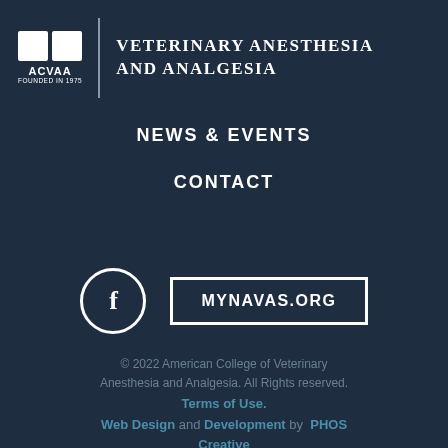[Figure (logo): ACVAA logo with two white squares and text 'ACVAA FOUNDED IN 1975', beside a vertical divider and the text 'VETERINARY ANESTHESIA AND ANALGESIA' in serif uppercase]
NEWS & EVENTS
CONTACT
[Figure (other): Facebook icon in a circle and a MYNAVAS.ORG button with white border]
© 2022 American College of Veterinary Anesthesia and Analgesia. All Rights reserved. Terms of Use. Web Design and Development by PHOS Creative